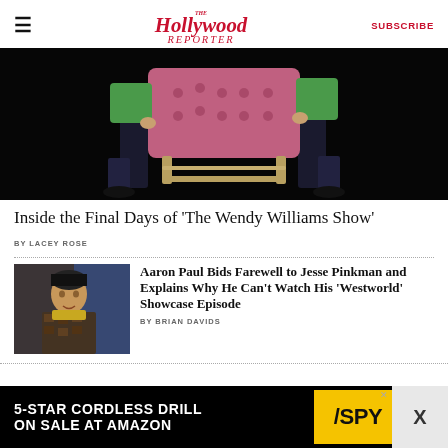The Hollywood Reporter | SUBSCRIBE
[Figure (photo): Two workers in green shirts carrying a large pink tufted armchair against a black background]
Inside the Final Days of 'The Wendy Williams Show'
BY LACEY ROSE
[Figure (photo): Aaron Paul wearing a beanie hat and patterned jacket, standing in front of a blue background]
Aaron Paul Bids Farewell to Jesse Pinkman and Explains Why He Can't Watch His 'Westworld' Showcase Episode
BY BRIAN DAVIDS
[Figure (infographic): Advertisement: 5-STAR CORDLESS DRILL ON SALE AT AMAZON — SPY logo in yellow]